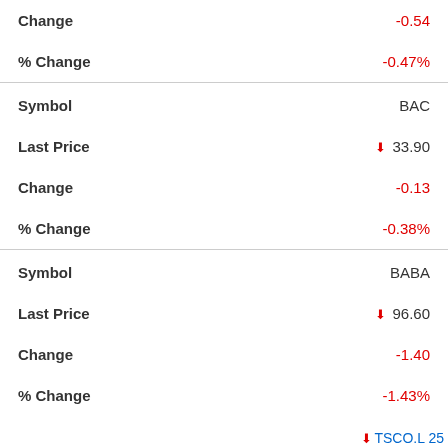| Field | Value |
| --- | --- |
| Change | -0.54 |
| % Change | -0.47% |
| Symbol | BAC |
| Last Price | ▼ 33.90 |
| Change | -0.13 |
| % Change | -0.38% |
| Symbol | BABA |
| Last Price | ▼ 96.60 |
| Change | -1.40 |
| % Change | -1.43% |
▼ TSCO.L 25